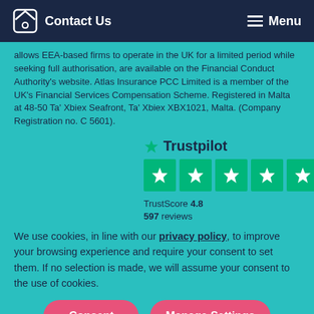Contact Us | Menu
allows EEA-based firms to operate in the UK for a limited period while seeking full authorisation, are available on the Financial Conduct Authority's website. Atlas Insurance PCC Limited is a member of the UK's Financial Services Compensation Scheme. Registered in Malta at 48-50 Ta' Xbiex Seafront, Ta' Xbiex XBX1021, Malta. (Company Registration no. C 5601).
[Figure (logo): Trustpilot rating widget showing 4.8 TrustScore with 5 green stars and 597 reviews]
We use cookies, in line with our privacy policy, to improve your browsing experience and require your consent to set them. If no selection is made, we will assume your consent to the use of cookies.